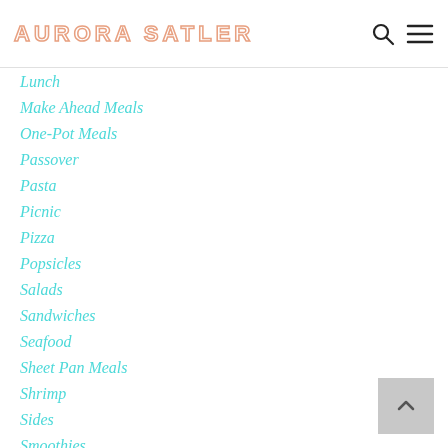AURORA SATLER
Lunch
Make Ahead Meals
One-Pot Meals
Passover
Pasta
Picnic
Pizza
Popsicles
Salads
Sandwiches
Seafood
Sheet Pan Meals
Shrimp
Sides
Smoothies